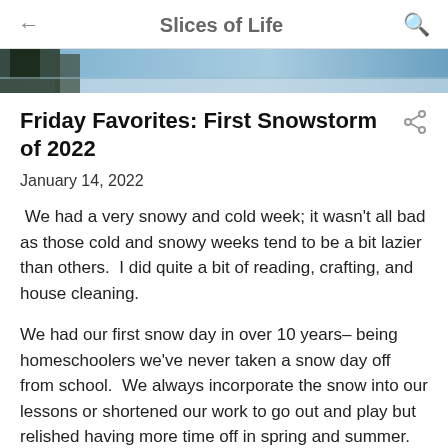← Slices of Life 🔍
[Figure (photo): Partial banner image showing a snowy outdoor scene with trees and a blue sky]
Friday Favorites: First Snowstorm of 2022
January 14, 2022
We had a very snowy and cold week; it wasn't all bad as those cold and snowy weeks tend to be a bit lazier than others.  I did quite a bit of reading, crafting, and house cleaning.
We had our first snow day in over 10 years– being homeschoolers we've never taken a snow day off from school.  We always incorporate the snow into our lessons or shortened our work to go out and play but relished having more time off in spring and summer.  With Alec in public